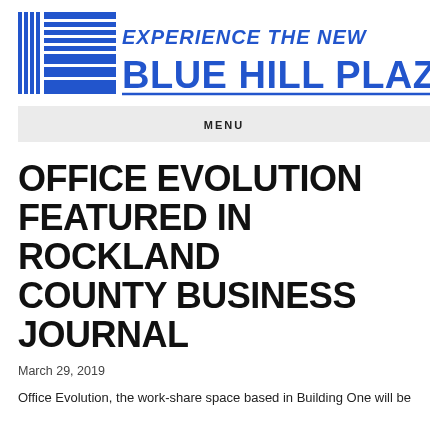[Figure (logo): Blue Hill Plaza logo with horizontal lines and text 'EXPERIENCE THE NEW BLUE HILL PLAZA' in blue]
MENU
OFFICE EVOLUTION FEATURED IN ROCKLAND COUNTY BUSINESS JOURNAL
March 29, 2019
Office Evolution, the work-share space based in Building One will be